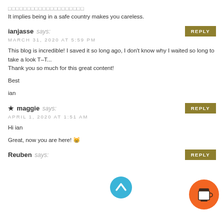□□□□□□□□□□□□□□□□□□□□
It implies being in a safe country makes you careless.
ianjasse says:
MARCH 31, 2020 AT 5:59 PM
This blog is incredible! I saved it so long ago, I don't know why I waited so long to take a look T-T...
Thank you so much for this great content!

Best

ian
★ maggie says:
APRIL 1, 2020 AT 1:51 AM
Hi ian

Great, now you are here! 😸
Reuben says: